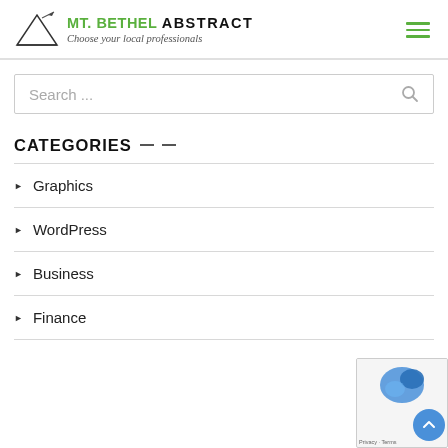MT. BETHEL ABSTRACT — Choose your local professionals
Search ...
CATEGORIES
Graphics
WordPress
Business
Finance